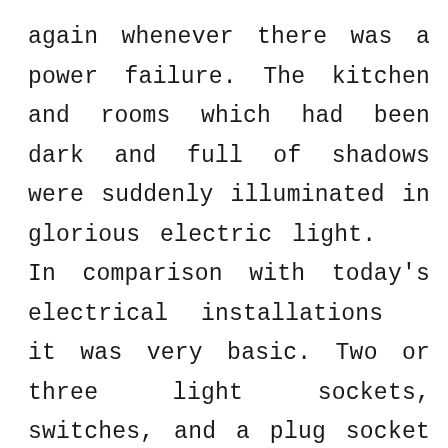again whenever there was a power failure. The kitchen and rooms which had been dark and full of shadows were suddenly illuminated in glorious electric light.   In comparison with today's electrical installations  it was very basic. Two or three light sockets, switches, and a plug socket with round holes was the sum total of the installation. Soon my father had improvised with a double adaptor connected into the kitchen light and a wire running out the window into the shed so that he could have an infra red lamp for the new born pigs. This made a big difference to their survival as